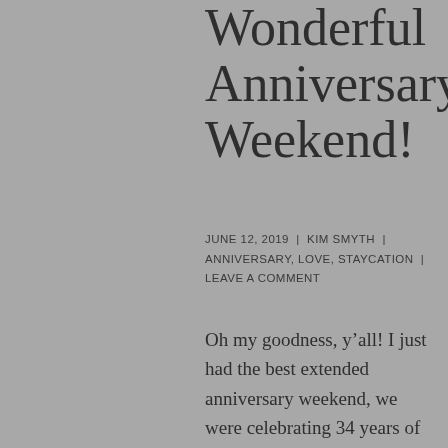Wonderful Anniversary Weekend!
JUNE 12, 2019 | KIM SMYTH | ANNIVERSARY, LOVE, STAYCATION | LEAVE A COMMENT
Oh my goodness, y’all! I just had the best extended anniversary weekend, we were celebrating 34 years of marriage and my husband absolutely doted on me! We spent almost every moment together, even into yesterday, since he accompanied me to the doctor’s office to hear the results of my MRI and find out when I would be